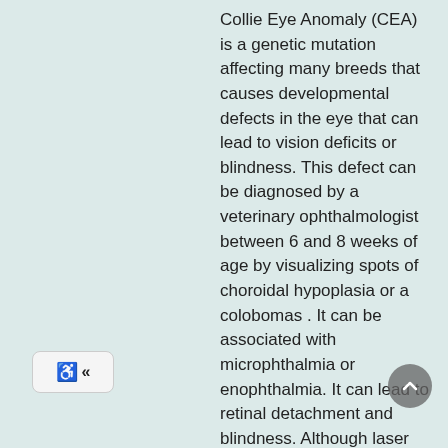Collie Eye Anomaly (CEA) is a genetic mutation affecting many breeds that causes developmental defects in the eye that can lead to vision deficits or blindness. This defect can be diagnosed by a veterinary ophthalmologist between 6 and 8 weeks of age by visualizing spots of choroidal hypoplasia or a colobomas . It can be associated with microphthalmia or enophthalmia. It can lead to retinal detachment and blindness. Although laser repair of partial retinal detachments can be attempted if detected in early stages, there is